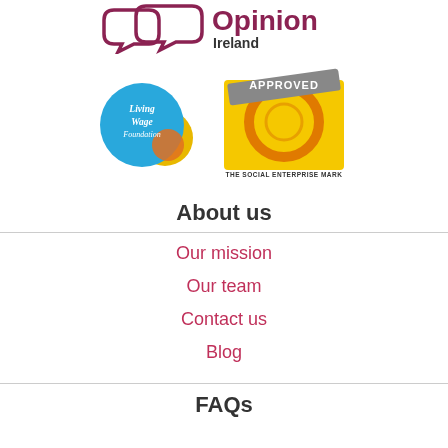[Figure (logo): Opinion Ireland logo - speech bubble icons with 'Opinion' in magenta bold text and 'Ireland' in dark bold text below]
[Figure (logo): Living Wage Foundation logo - blue circle with white italic text 'Living Wage Foundation' and a yellow/orange overlapping circle]
[Figure (logo): The Social Enterprise Mark - Approved stamp with yellow square background, circular logo, text 'THE SOCIAL ENTERPRISE MARK' and 'TRADING FOR PEOPLE AND PLANET']
About us
Our mission
Our team
Contact us
Blog
FAQs